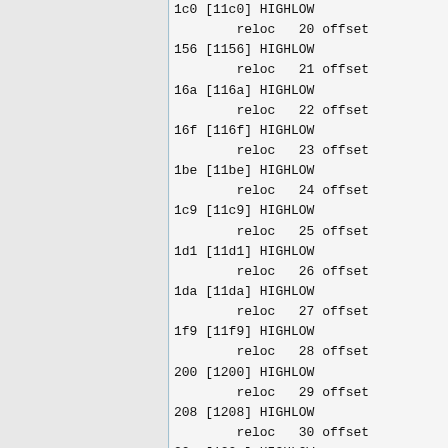1c0 [11c0] HIGHLOW
        reloc   20 offset
156 [1156] HIGHLOW
        reloc   21 offset
16a [116a] HIGHLOW
        reloc   22 offset
16f [116f] HIGHLOW
        reloc   23 offset
1be [11be] HIGHLOW
        reloc   24 offset
1c9 [11c9] HIGHLOW
        reloc   25 offset
1d1 [11d1] HIGHLOW
        reloc   26 offset
1da [11da] HIGHLOW
        reloc   27 offset
1f9 [11f9] HIGHLOW
        reloc   28 offset
200 [1200] HIGHLOW
        reloc   29 offset
208 [1208] HIGHLOW
        reloc   30 offset
20e [120e] HIGHLOW
        reloc   31 offset
0 [1000] ABSOLUTE